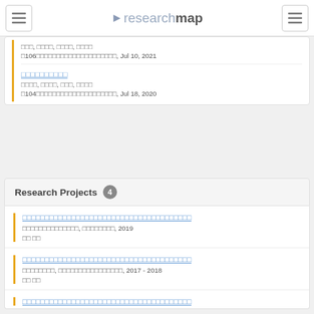researchmap
□□□, □□□□, □□□□, □□□□
□106□□□□□□□□□□□□□□□□□□□□, Jul 10, 2021
□□□□□□□□□□ (link)
□□□□, □□□□, □□□, □□□□
□104□□□□□□□□□□□□□□□□□□□□, Jul 18, 2020
Research Projects 4
□□□□□□□□□□□□□□□□□□□□□□□□□□□□□□□□□□□□ (link)
□□□□□□□□□□□□□□, □□□□□□□□, 2019
□□ □□
□□□□□□□□□□□□□□□□□□□□□□□□□□□□□□□□□□□□ (link)
□□□□□□□□, □□□□□□□□□□□□□□□□, 2017 - 2018
□□ □□
□□□□□□□□□□□□□□□□□□□□□□□□□□□□□□□□□□□□ (link, partial)